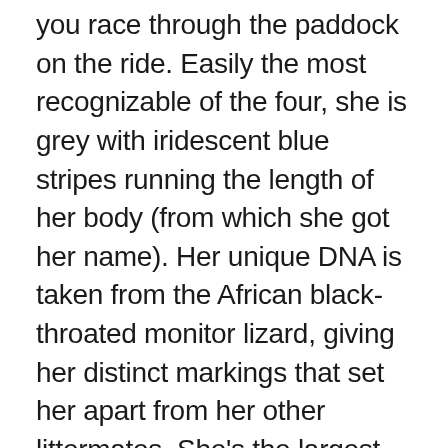you race through the paddock on the ride. Easily the most recognizable of the four, she is grey with iridescent blue stripes running the length of her body (from which she got her name). Her unique DNA is taken from the African black-throated monitor lizard, giving her distinct markings that set her apart from her other littermates. She's the largest, the most intelligent, and the most deadly. Fun fact: She can snatch meat from hooks placed 15 feet in the air above her — just like a Bengal tiger!
Delta